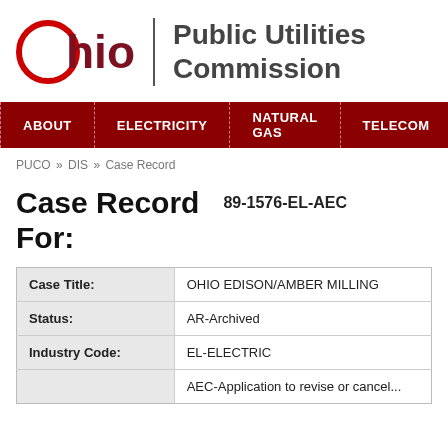[Figure (logo): Ohio Public Utilities Commission logo with red circle O, dark red 'hio' text, vertical divider line, and 'Public Utilities Commission' text]
ABOUT | ELECTRICITY | NATURAL GAS | TELECOM
PUCO » DIS » Case Record
Case Record For:
89-1576-EL-AEC
| Case Title: | OHIO EDISON/AMBER MILLING |
| Status: | AR-Archived |
| Industry Code: | EL-ELECTRIC |
|  | AEC-Application to revise or cancel... |